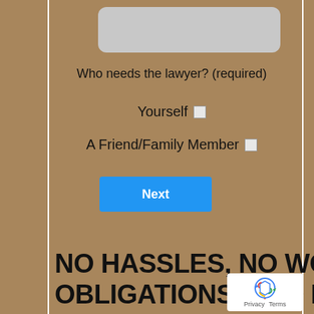[Figure (other): Gray rounded rectangle input box at top]
Who needs the lawyer? (required)
Yourself  ☐
A Friend/Family Member  ☐
Next
NO HASSLES, NO WORRIES, NO OBLIGATIONS, AND IT'S 100% FREE.
[Figure (logo): Google reCAPTCHA badge with Privacy and Terms links]